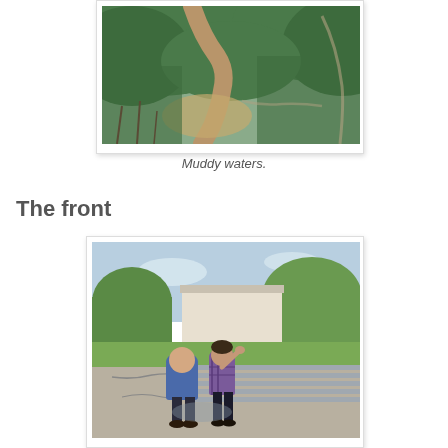[Figure (photo): Aerial view of a muddy winding river through forested hills and valley]
Muddy waters.
The front
[Figure (photo): Two people standing in front of a house, appearing to survey damage on the ground; metal strips or debris laid across the driveway]